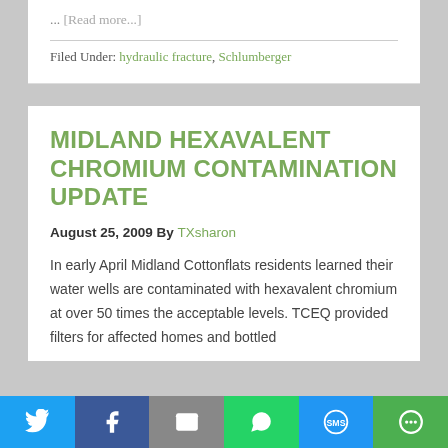... [Read more...]
Filed Under: hydraulic fracture, Schlumberger
MIDLAND HEXAVALENT CHROMIUM CONTAMINATION UPDATE
August 25, 2009 By TXsharon
In early April Midland Cottonflats residents learned their water wells are contaminated with hexavalent chromium at over 50 times the acceptable levels. TCEQ provided filters for affected homes and bottled
[Figure (infographic): Social media share bar with Twitter, Facebook, Email, WhatsApp, SMS, and More buttons]